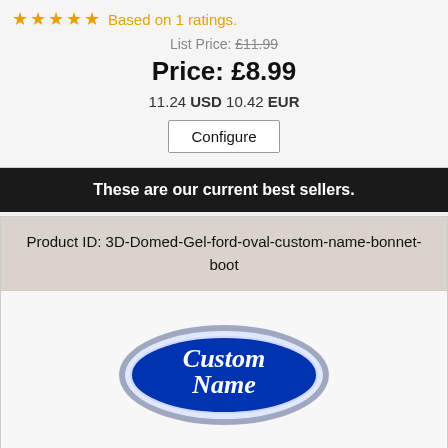★★★★★ Based on 1 ratings.
List Price: £11.99
Price: £8.99
11.24 USD 10.42 EUR
Configure
These are our current best sellers.
Product ID: 3D-Domed-Gel-ford-oval-custom-name-bonnet-boot
[Figure (illustration): Ford oval badge with blue background and white italic script text reading 'Custom Name']